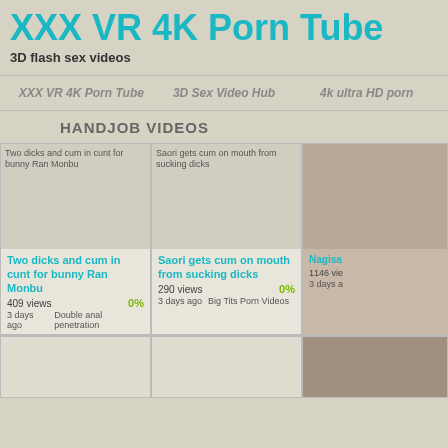XXX VR 4K Porn Tube
3D flash sex videos
XXX VR 4K Porn Tube   3D Sex Video Hub   4k ultra HD porn
HANDJOB VIDEOS
[Figure (photo): Thumbnail image for 'Two dicks and cum in cunt for bunny Ran Monbu']
Two dicks and cum in cunt for bunny Ran Monbu
409 views
0%
3 days ago   Double anal penetration
[Figure (photo): Thumbnail image for 'Saori gets cum on mouth from sucking dicks']
Saori gets cum on mouth from sucking dicks
290 views
0%
3 days ago   Big Tits Porn Videos
[Figure (photo): Partial thumbnail for Nagisa video]
Nagisa ...
1146 vie...
3 days a...